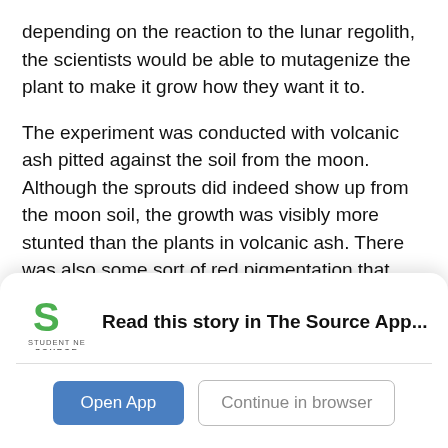depending on the reaction to the lunar regolith, the scientists would be able to mutagenize the plant to make it grow how they want it to.
The experiment was conducted with volcanic ash pitted against the soil from the moon. Although the sprouts did indeed show up from the moon soil, the growth was visibly more stunted than the plants in volcanic ash. There was also some sort of red pigmentation that showed up on some of the leaves. As the experiment went on, the plants showed many
[Figure (logo): Student News Source logo — green S icon with 'STUDENT NEWS SOURCE' text below]
Read this story in The Source App...
Open App
Continue in browser